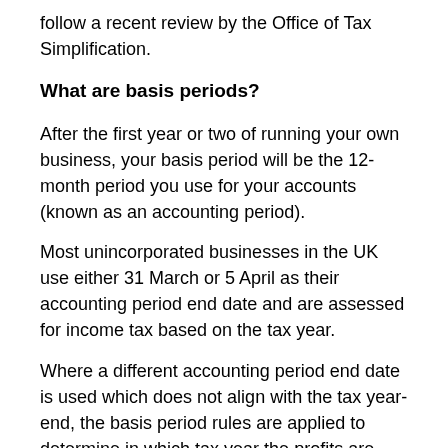follow a recent review by the Office of Tax Simplification.
What are basis periods?
After the first year or two of running your own business, your basis period will be the 12-month period you use for your accounts (known as an accounting period).
Most unincorporated businesses in the UK use either 31 March or 5 April as their accounting period end date and are assessed for income tax based on the tax year.
Where a different accounting period end date is used which does not align with the tax year-end, the basis period rules are applied to determine in which tax year the profits are taxed. In these circumstances, the profits are taxed in the tax year in which the accounting period ended.